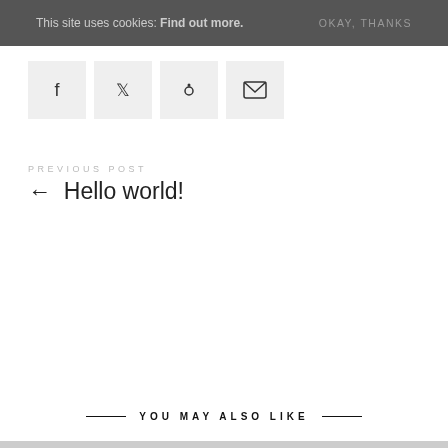This site uses cookies: Find out more. OKAY, THANKS
[Figure (infographic): Row of four social share icon buttons: Facebook (f), Twitter (bird), Pinterest (p), Email (envelope), each in a light grey square box]
PREVIOUS POST
← Hello world!
YOU MAY ALSO LIKE